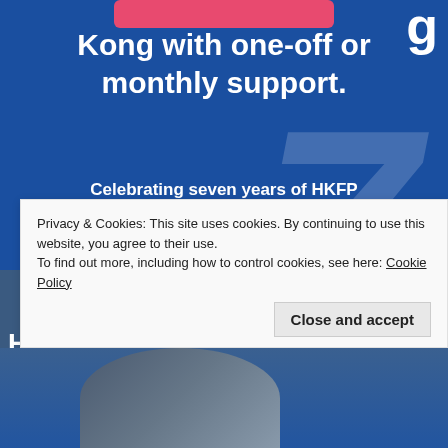[Figure (infographic): Blue HKFP donation banner with headline 'Kong with one-off or monthly support.' and subtext 'Celebrating seven years of HKFP / Non-profit | Impartial | 100% independent', pink donate button at top, large italic '7' watermark, and a newspaper/photo strip below.]
Privacy & Cookies: This site uses cookies. By continuing to use this website, you agree to their use.
To find out more, including how to control cookies, see here: Cookie Policy
Close and accept